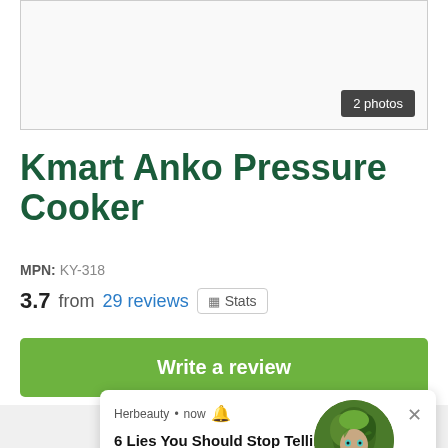[Figure (photo): Product photo placeholder area with '2 photos' button]
Kmart Anko Pressure Cooker
MPN: KY-318
3.7 from 29 reviews  Stats
Write a review
[Figure (screenshot): Herbeauty ad overlay: '6 Lies You Should Stop Telling Yourself Right Now' with 795 likes and a circular image of a man with green-leaf face paint]